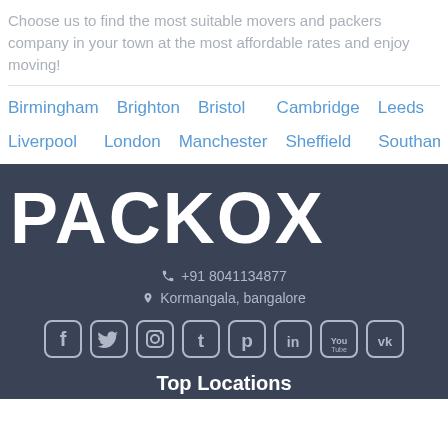Choose us to find the most suitable movers and packers company in your town at the most affordable rates and enjoy moving!
Birmingham
Brighton
Bristol
Cambridge
Leeds
Liverpool
London
Manchester
Sheffield
Southampton
[Figure (logo): PACKOX logo in large white bold text on dark blue-grey background]
+91 8041134877
Kormangala, bangalore
Top Locations